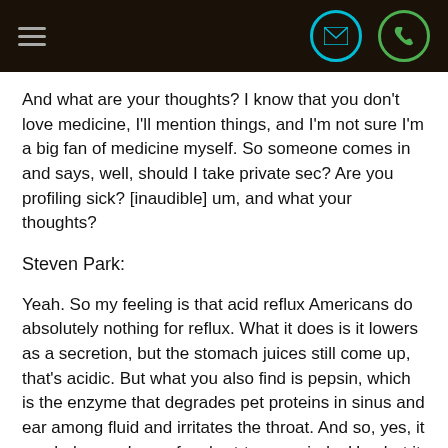Navigation header with hamburger menu, email icon, phone icon
And what are your thoughts? I know that you don't love medicine, I'll mention things, and I'm not sure I'm a big fan of medicine myself. So someone comes in and says, well, should I take private sec? Are you profiling sick? [inaudible] um, and what your thoughts?
Steven Park:
Yeah. So my feeling is that acid reflux Americans do absolutely nothing for reflux. What it does is it lowers as a secretion, but the stomach juices still come up, that's acidic. But what you also find is pepsin, which is the enzyme that degrades pet proteins in sinus and ear among fluid and irritates the throat. And so, yes, it can help, you know, for short-term periods. Um, but it